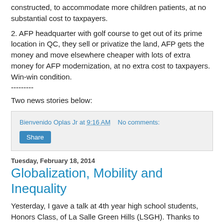constructed, to accommodate more children patients, at no substantial cost to taxpayers.
2. AFP headquarter with golf course to get out of its prime location in QC, they sell or privatize the land, AFP gets the money and move elsewhere cheaper with lots of extra money for AFP modernization, at no extra cost to taxpayers. Win-win condition.
---------
Two news stories below:
Bienvenido Oplas Jr at 9:16 AM   No comments:
Share
Tuesday, February 18, 2014
Globalization, Mobility and Inequality
Yesterday, I gave a talk at 4th year high school students, Honors Class, of La Salle Green Hills (LSGH). Thanks to